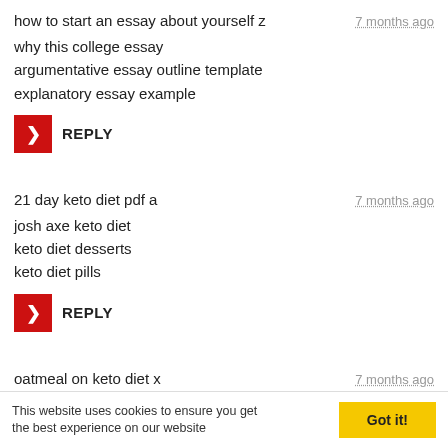how to start an essay about yourself z
7 months ago
why this college essay
argumentative essay outline template
explanatory essay example
[Figure (other): Red square button with white right-arrow chevron and REPLY label]
21 day keto diet pdf a
7 months ago
josh axe keto diet
keto diet desserts
keto diet pills
[Figure (other): Red square button with white right-arrow chevron and REPLY label]
oatmeal on keto diet x
7 months ago
This website uses cookies to ensure you get the best experience on our website